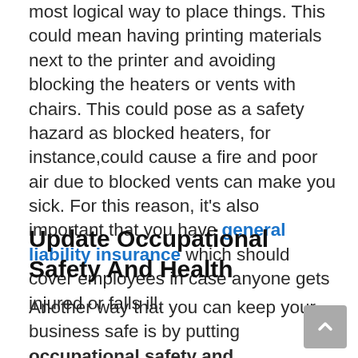most logical way to place things. This could mean having printing materials next to the printer and avoiding blocking the heaters or vents with chairs. This could pose as a safety hazard as blocked heaters, for instance,could cause a fire and poor air due to blocked vents can make you sick. For this reason, it's also important that you have general liability insurance which should cover employees in case anyone gets injured or falls ill.
Update Occupational Safety And Health
Another way that you can keep your business safe is by putting occupational safety and